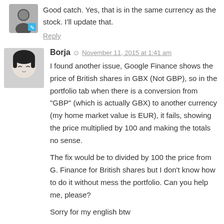Good catch. Yes, that is in the same currency as the stock. I'll update that.
Reply
Borja  November 11, 2015 at 1:41 am
I found another issue, Google Finance shows the price of British shares in GBX (Not GBP), so in the portfolio tab when there is a conversion from "GBP" (which is actually GBX) to another currency (my home market value is EUR), it fails, showing the price multiplied by 100 and making the totals no sense.
The fix would be to divided by 100 the price from G. Finance for British shares but I don't know how to do it without mess the portfolio. Can you help me, please?
Sorry for my english btw
Reply
scott  November 11, 2015 at 2:48 am
Hmm. That's interesting that stocks are traded in pence